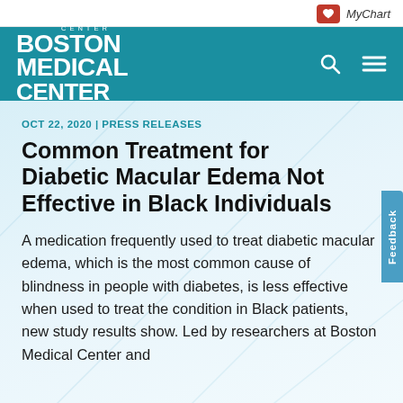MyChart
[Figure (logo): Boston Medical Center logo — white text on teal background with search and menu icons]
OCT 22, 2020 | PRESS RELEASES
Common Treatment for Diabetic Macular Edema Not Effective in Black Individuals
A medication frequently used to treat diabetic macular edema, which is the most common cause of blindness in people with diabetes, is less effective when used to treat the condition in Black patients, new study results show. Led by researchers at Boston Medical Center and...